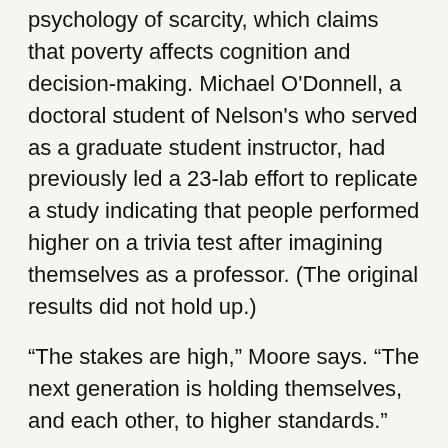psychology of scarcity, which claims that poverty affects cognition and decision-making. Michael O'Donnell, a doctoral student of Nelson's who served as a graduate student instructor, had previously led a 23-lab effort to replicate a study indicating that people performed higher on a trivia test after imagining themselves as a professor. (The original results did not hold up.)
“The stakes are high,” Moore says. “The next generation is holding themselves, and each other, to higher standards.”
Asst. Prof. Schroeder, who studies social cognition, says she’s significantly changed how she works (see p. 30). “Berkeley has really influenced my own research in terms of the quality of the methods,” she says.
All of this is why, despite all the retractions and failures to replicate, leaders in the research transparency movement remain enthusiastic about the future. After all, self-correction is at the heart of the scientific process, and one